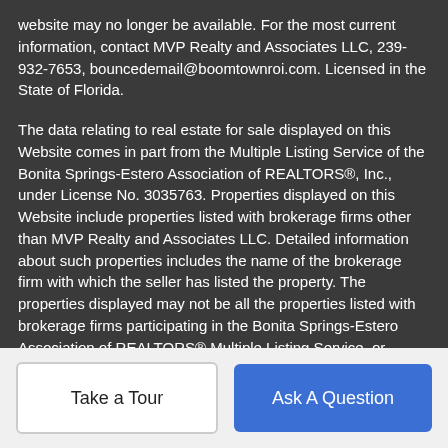website may no longer be available. For the most current information, contact MVP Realty and Associates LLC, 239-932-7653, bouncedemail@boomtownroi.com. Licensed in the State of Florida.
The data relating to real estate for sale displayed on this Website comes in part from the Multiple Listing Service of the Bonita Springs-Estero Association of REALTORS®, Inc., under License No. 3035763. Properties displayed on this Website include properties listed with brokerage firms other than MVP Realty and Associates LLC. Detailed information about such properties includes the name of the brokerage firm with which the seller has listed the property. The properties displayed may not be all the properties listed with brokerage firms participating in the Bonita Springs-Estero Association of REALTORS® Multiple Listing Service, or contained in the database compilation of the Bonita Springs-Estero Association of REALTORS® Multiple Listing Service. Data last updated 2022-08-31T22:28:31.58.
Take a Tour
Ask A Question